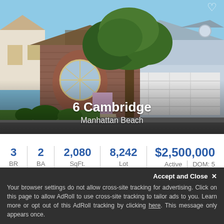[Figure (photo): Exterior photo of a two-story house at 6 Cambridge, Manhattan Beach, featuring a brick bay window, large tree in front yard, blue/gray siding, and a white double garage door. Address overlaid on image.]
6 Cambridge
Manhattan Beach
3 BR | 2 BA | 2,080 SqFt. | 8,242 Lot
$2,500,000
Active | DOM: 5
Accept and Close ×
Your browser settings do not allow cross-site tracking for advertising. Click on this page to allow AdRoll to use cross-site tracking to tailor ads to you. Learn more or opt out of this AdRoll tracking by clicking here. This message only appears once.